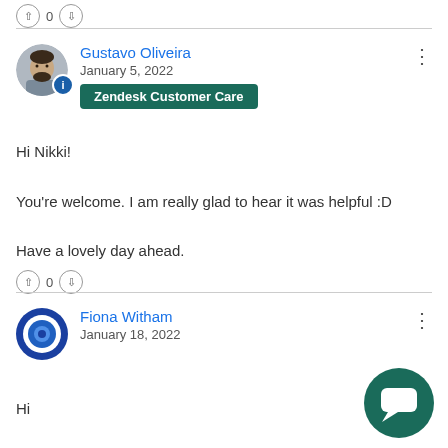↑ 0 ↓
Gustavo Oliveira
January 5, 2022
Zendesk Customer Care
Hi Nikki!

You're welcome. I am really glad to hear it was helpful :D

Have a lovely day ahead.
↑ 0 ↓
Fiona Witham
January 18, 2022
Hi